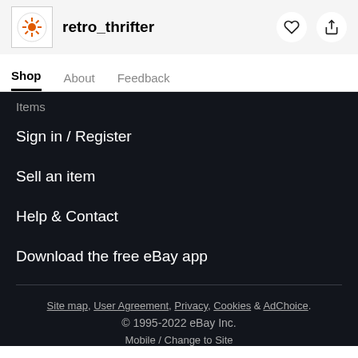retro_thrifter
Shop   About   Feedback
Items
Sign in / Register
Sell an item
Help & Contact
Download the free eBay app
Site map, User Agreement, Privacy, Cookies & AdChoice.
© 1995-2022 eBay Inc.
Mobile / Change to Site